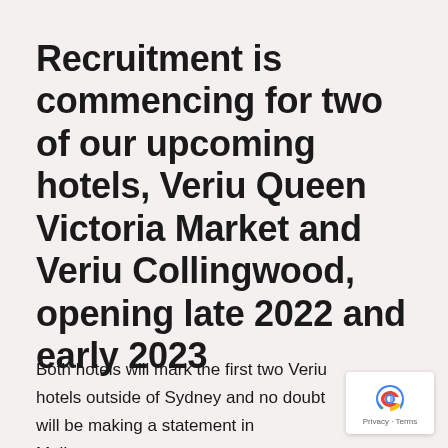Recruitment is commencing for two of our upcoming hotels, Veriu Queen Victoria Market and Veriu Collingwood, opening late 2022 and early 2023
Both hotels will mark the first two Veriu hotels outside of Sydney and no doubt will be making a statement in Melbourne.